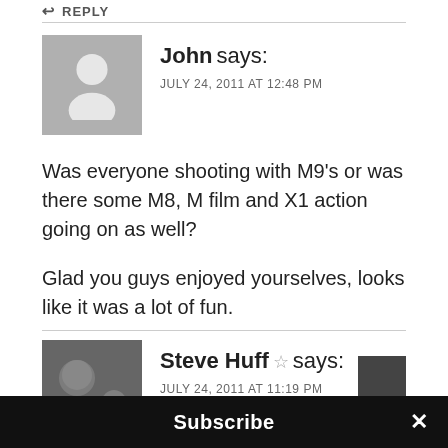↩ REPLY
John says:
JULY 24, 2011 AT 12:48 PM
Was everyone shooting with M9's or was there some M8, M film and X1 action going on as well?

Glad you guys enjoyed yourselves, looks like it was a lot of fun.
↩ REPLY
Steve Huff ☆ says:
JULY 24, 2011 AT 11:19 PM
Subscribe